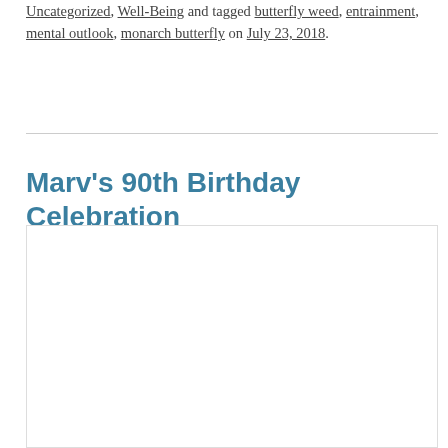Uncategorized, Well-Being and tagged butterfly weed, entrainment, mental outlook, monarch butterfly on July 23, 2018.
Marv's 90th Birthday Celebration
[Figure (photo): A large white/blank image placeholder for an embedded photo or video, shown with a light gray border.]